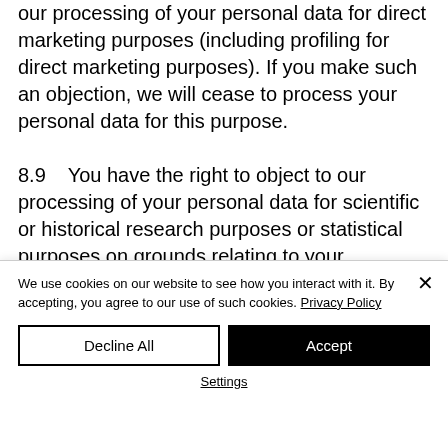our processing of your personal data for direct marketing purposes (including profiling for direct marketing purposes). If you make such an objection, we will cease to process your personal data for this purpose. 8.9    You have the right to object to our processing of your personal data for scientific or historical research purposes or statistical purposes on grounds relating to your particular situation, unless the processing is necessary
We use cookies on our website to see how you interact with it. By accepting, you agree to our use of such cookies. Privacy Policy
Decline All
Accept
Settings